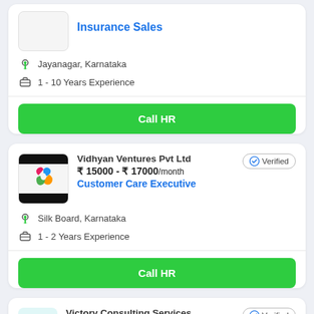Insurance Sales
Jayanagar, Karnataka
1 - 10 Years Experience
Call HR
Vidhyan Ventures Pvt Ltd
₹ 15000 - ₹ 17000/month
Customer Care Executive
Verified
Silk Board, Karnataka
1 - 2 Years Experience
Call HR
Victory Consulting Services
Verified